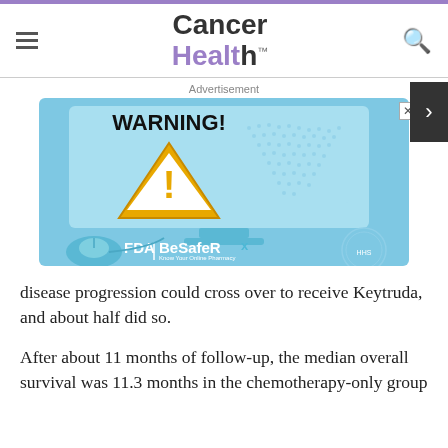Cancer Health
[Figure (illustration): FDA BeSafeRx advertisement showing a computer monitor displaying a WARNING! sign with a yellow triangle warning symbol, a computer mouse, the FDA and BeSafeRx logos, and an HHS eagle seal. Blue color scheme.]
disease progression could cross over to receive Keytruda, and about half did so.
After about 11 months of follow-up, the median overall survival was 11.3 months in the chemotherapy-only group